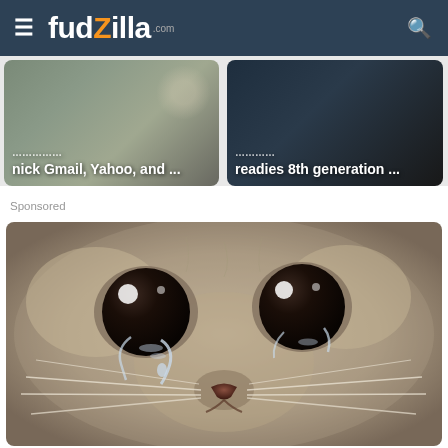fudzilla.com
nick Gmail, Yahoo, and ...
Samsung readies 8th generation ...
Sponsored
[Figure (photo): Close-up photo of a crying cat with large dark eyes and tears, light grey/cream fur, prominent whiskers, looking upward with a sad expression]